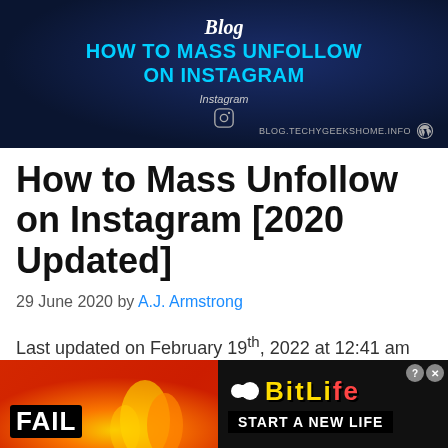[Figure (illustration): Dark navy blue banner with text 'HOW TO MASS UNFOLLOW ON INSTAGRAM' in cyan/blue bold uppercase, Instagram label and icon, and blog URL BLOG.TECHYGEEKSHOME.INFO with WordPress icon in bottom right.]
How to Mass Unfollow on Instagram [2020 Updated]
29 June 2020 by A.J. Armstrong
Last updated on February 19th, 2022 at 12:41 am
[Figure (illustration): Advertisement banner for BitLife game with red/orange fiery background, FAIL text in black box, cartoon character, flame graphic on left, and BitLife logo with 'START A NEW LIFE' text on black right section. Close buttons visible top right.]